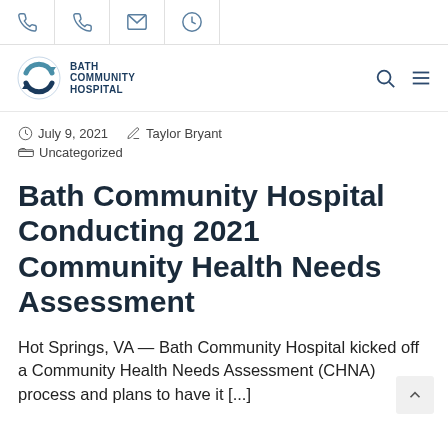Icon bar with phone, phone, email, clock icons
[Figure (logo): Bath Community Hospital logo with circular arrow icon and text BATH COMMUNITY HOSPITAL]
July 9, 2021  Taylor Bryant  Uncategorized
Bath Community Hospital Conducting 2021 Community Health Needs Assessment
Hot Springs, VA — Bath Community Hospital kicked off a Community Health Needs Assessment (CHNA) process and plans to have it [...]